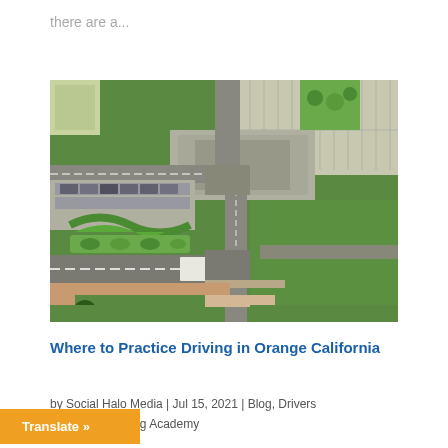there are a...
[Figure (photo): Aerial/satellite view of a road intersection and parking lot area with buildings, green grass, and parked cars visible from above.]
Where to Practice Driving in Orange California
by Social Halo Media | Jul 15, 2021 | Blog, Drivers
ng, Varsity Driving Academy
Translate »